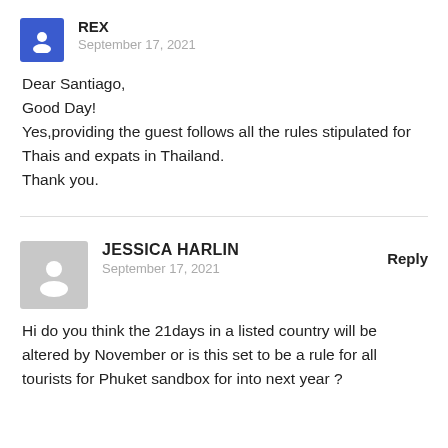[Figure (other): Blue square avatar icon with white user silhouette for user REX]
REX
September 17, 2021
Dear Santiago,
Good Day!
Yes,providing the guest follows all the rules stipulated for Thais and expats in Thailand.
Thank you.
[Figure (other): Gray square avatar icon with white user silhouette for user JESSICA HARLIN]
JESSICA HARLIN
Reply
September 17, 2021
Hi do you think the 21days in a listed country will be altered by November or is this set to be a rule for all tourists for Phuket sandbox for into next year ?